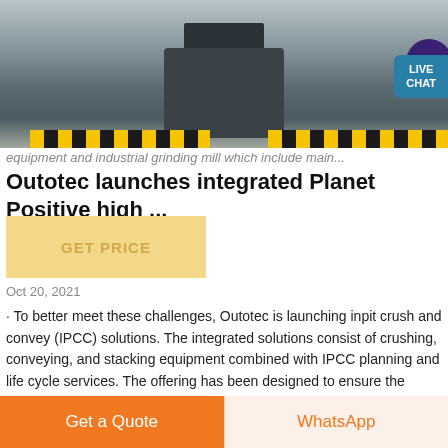[Figure (photo): Industrial grinding/crushing machine in a factory setting, with yellow-black striped safety barriers on the ground, and a LIVE CHAT bubble overlay in the upper right corner.]
equipment and industrial grinding mill which include main...
Outotec launches integrated Planet Positive high ...
GET PRICE
Oct 20, 2021
· To better meet these challenges, Outotec is launching inpit crush and convey (IPCC) solutions. The integrated solutions consist of crushing, conveying, and stacking equipment combined with IPCC planning and life cycle services. The offering has been designed to ensure the highest productivity, energy efficiency, and maintainability.